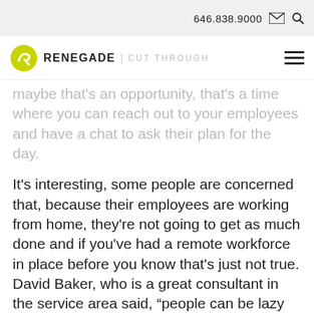646.838.9000
[Figure (logo): Renegade | Cut Through logo with yellow circular icon]
maybe that's an opportunity, that's a time where you can reach out to your employees and have a chat to ask their plan for the day.
It's interesting, some people are concerned that, because their employees are working from home, they're not going to get as much done and if you've had a remote workforce in place before you know that's just not true. David Baker, who is a great consultant in the service area said, “people can be lazy anywhere” and I think that's so true. It is important, however, as a leader, that what's expected of folks is clear. What maybe needs to happen is to say, “okay